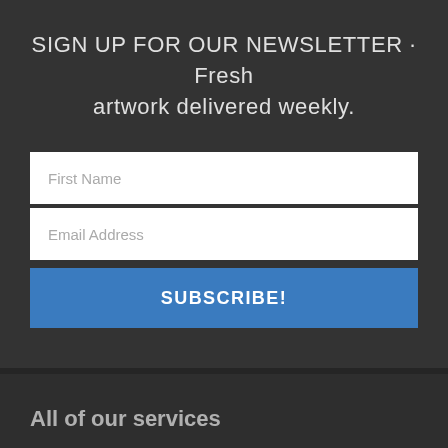SIGN UP FOR OUR NEWSLETTER · Fresh artwork delivered weekly.
First Name
Email Address
SUBSCRIBE!
All of our services
FREE art consultation for corporate clients